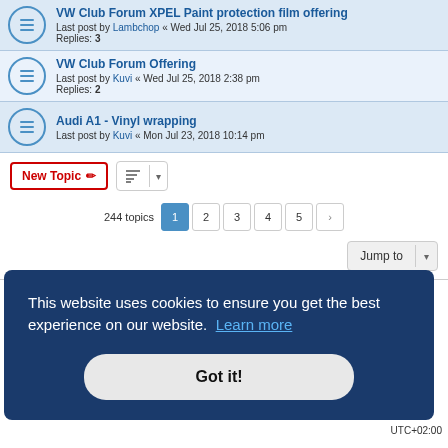VW Club Forum XPEL Paint protection film offering — Last post by Lambchop « Wed Jul 25, 2018 5:06 pm — Replies: 3
VW Club Forum Offering — Last post by Kuvi « Wed Jul 25, 2018 2:38 pm — Replies: 2
Audi A1 - Vinyl wrapping — Last post by Kuvi « Mon Jul 23, 2018 10:14 pm
New Topic | Sort | 244 topics | 1 2 3 4 5 >
Jump to
FORUM PERMISSIONS
This website uses cookies to ensure you get the best experience on our website. Learn more
Got it!
UTC+02:00